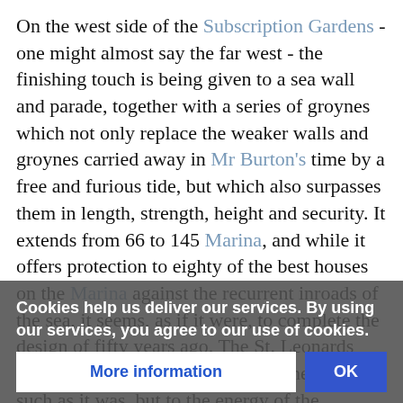On the west side of the Subscription Gardens - one might almost say the far west - the finishing touch is being given to a sea wall and parade, together with a series of groynes which not only replace the weaker walls and groynes carried away in Mr Burton's time by a free and furious tide, but which also surpasses them in length, strength, height and security. It extends from 66 to 145 Marina, and while it offers protection to eighty of the best houses on the Marina against the recurrent inroads of the sea, it seems, as if it were, to complete the design of fifty years ago. The St. Leonards Commissioners did good work in their time, such as it was, but to the energy of the Hastings Urban Sanitary Authority they owe the present improvements, as well as that of last year. There is only one serious drawback to having... one which was foreseen... the action of
Cookies help us deliver our services. By using our services, you agree to our use of cookies.